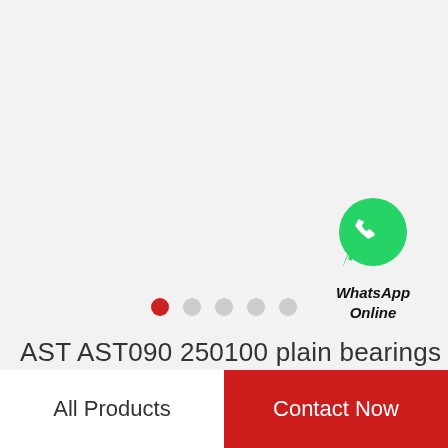[Figure (illustration): WhatsApp Online icon — green circle with white phone handset, speech bubble shape, with text 'WhatsApp Online' below]
[Figure (other): Carousel dot indicators: one active red dot followed by four grey dots]
AST AST090 250100 plain bearings
All Products
Contact Now